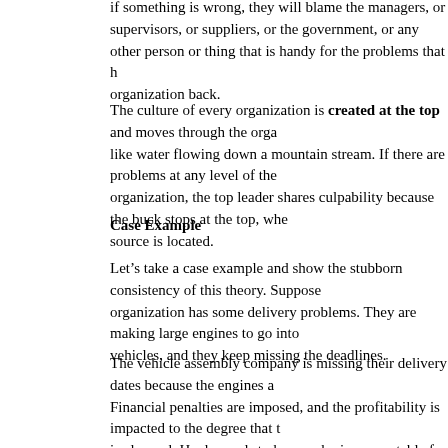if something is wrong, they will blame the managers, or supervisors, or suppliers, or the government, or any other person or thing that is handy for the problems that hold the organization back.
The culture of every organization is created at the top and moves through the organization like water flowing down a mountain stream. If there are problems at any level of the organization, the top leader shares culpability because the buck stops at the top, where the source is located.
Case Example
Let’s take a case example and show the stubborn consistency of this theory. Suppose an organization has some delivery problems. They are making large engines to go into large vehicles, and they keep missing the deadlines.
The vehicle assembly company is missing their delivery dates because the engines are late. Financial penalties are imposed, and the profitability is impacted to the degree that the CEO is alarmed. He demands to know who is accountable for the delays.
He finds out that some of the suppliers have been sending low quality parts that require lots of rework. The purchasing manager is called on the carpet for not creating a more specific quality specification. The incoming inspection manager is faulted for not catching the problems at the receiving dock.
The CEO calls in the production manager and demands to know why productivity of the plant is down by 18% this year. The manager tells the CEO that people are really upset because of no raises in 3 years.
The CEO wanders out on the production line and sees 9 engines lined up to be reworked...